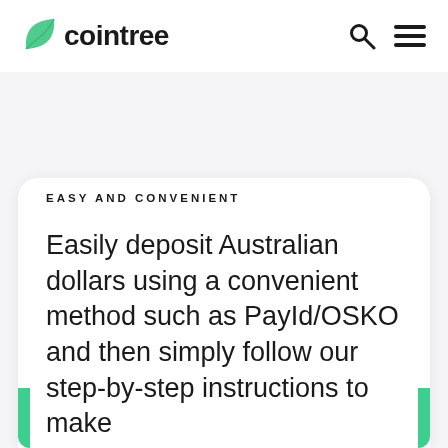cointree
EASY AND CONVENIENT
Easily deposit Australian dollars using a convenient method such as PayId/OSKO and then simply follow our step-by-step instructions to make